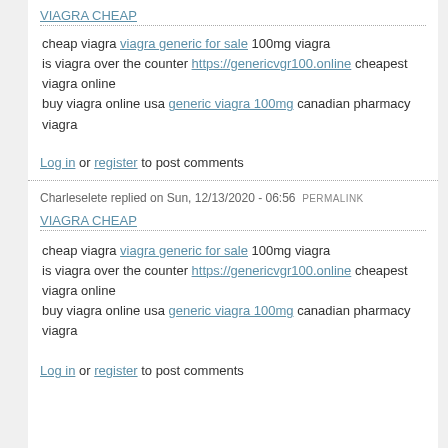VIAGRA CHEAP
cheap viagra viagra generic for sale 100mg viagra
is viagra over the counter https://genericvgr100.online cheapest viagra online
buy viagra online usa generic viagra 100mg canadian pharmacy viagra
Log in or register to post comments
Charleselete replied on Sun, 12/13/2020 - 06:56 PERMALINK
VIAGRA CHEAP
cheap viagra viagra generic for sale 100mg viagra
is viagra over the counter https://genericvgr100.online cheapest viagra online
buy viagra online usa generic viagra 100mg canadian pharmacy viagra
Log in or register to post comments